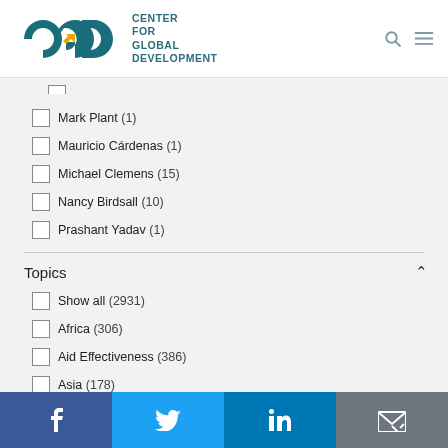[Figure (logo): Center for Global Development logo with CGD icon and text]
Mark Plant (1)
Mauricio Cárdenas (1)
Michael Clemens (15)
Nancy Birdsall (10)
Prashant Yadav (1)
Topics
Show all (2931)
Africa (306)
Aid Effectiveness (386)
Asia (178)
Chinese Development Policy (36)
[Figure (infographic): Social media share bar: Facebook, Twitter, LinkedIn, Email]